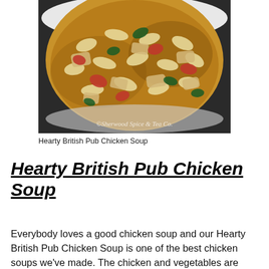[Figure (photo): A white bowl filled with hearty chicken noodle soup containing chunky vegetables including red peppers, dark greens, and rotini pasta in a golden broth. Watermark reads '©Sherwood Spice & Tea Co.' at the bottom.]
Hearty British Pub Chicken Soup
Hearty British Pub Chicken Soup
Everybody loves a good chicken soup and our Hearty British Pub Chicken Soup is one of the best chicken soups we've made. The chicken and vegetables are chunky, the flavor of the vegetables